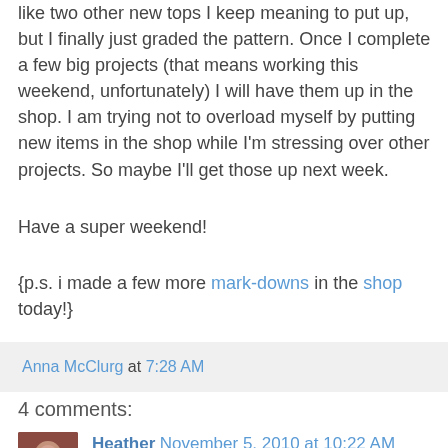like two other new tops I keep meaning to put up, but I finally just graded the pattern. Once I complete a few big projects (that means working this weekend, unfortunately) I will have them up in the shop. I am trying not to overload myself by putting new items in the shop while I'm stressing over other projects. So maybe I'll get those up next week.
Have a super weekend!
{p.s. i made a few more mark-downs in the shop today!}
Anna McClurg at 7:28 AM
4 comments:
[Figure (photo): Avatar photo of commenter Heather, showing a person in a dark red/maroon top]
Heather November 5, 2010 at 10:22 AM
Oooh, I freakin' love this!

I am right there with you about early Christmas excitement. Ain't no shame in it!